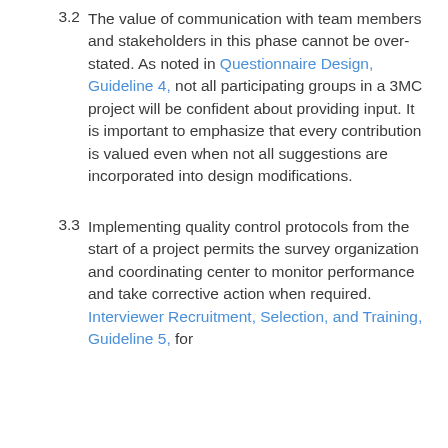3.2  The value of communication with team members and stakeholders in this phase cannot be overstated. As noted in Questionnaire Design, Guideline 4, not all participating groups in a 3MC project will be confident about providing input. It is important to emphasize that every contribution is valued even when not all suggestions are incorporated into design modifications.
3.3  Implementing quality control protocols from the start of a project permits the survey organization and coordinating center to monitor performance and take corrective action when required. Interviewer Recruitment, Selection, and Training, Guideline 5, for